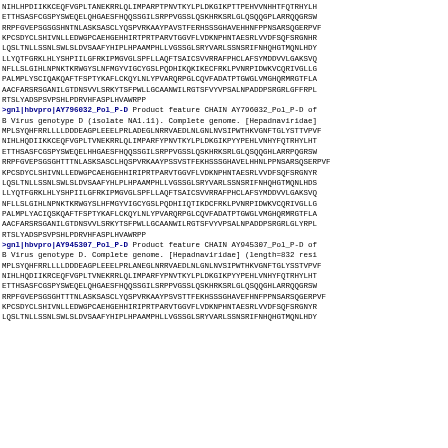NIHLHPDIIKKCEQFVGPLTANEKRRLQLIMPARPTPNVTKYLPLDKGIKPTTPEHVVNHHTFQTRHYLH
ETTHSASFCGSPYSWEQELQHGAESFHQQSSGILSRPPVGSSLQSKHRKSRLGLQSQQGPLARRQQGRSW
RRPFGVEPSGSGSHNTNLASKSASCLYQSPVRKAAYPAVSTFERHSSSGHAVEHHNFPPNSARSQGERPVF
KPCSDYCLSHIVNLLEDWGPCAEHGEHHIRTPRTPARVTGGVFLVDKNPHNTAESRLVVDFSQFSRGNHR
LQSLTNLLSSNLSWLSLDVSAAFYHIPLHPAAMPHLLVGSSGLSRYVARLSSNSRIFNHQHGTMQNLHDY
LLYQTFGRKLHLYSHPIILGFRKIPMGVGLSPFLLAQFTSAICSVVRRAFPHCLAFSYMDDVVLGAKSVQ
NFLLSLGIHLNPNKTKRWGYSLNFMGYVIGCYGSLPQDHIKQKIKECFRKLPVNRPIDWKVCQRIVGLLG
PALMPLYSCIQAKQAFTFSPTYKAFLCKQYLNLYPVARQRPGLCQVFADATPTGWGLVMGHQRMRGTFLA
AACFARSRSGANILGTDNSVVLSRKYTSFPWLLGCAANWILRGTSFVYVPSALNPADDPSRGRLGFFRPL
RTSLYADSPSVPSHLPDRVHFASPLHVAWRPP
>gnl|hbvpro|AY796032_Pol_P-D Product feature CHAIN AY796032_Pol_P-D of B Virus genotype D (isolate NA1.11). Complete genome. [Hepadnaviridae]
MPLSYQHFRRLLLLDDDEAGPLEEELPRLADEGLNRRVAEDLNLGNLNVSIPWTHKVGNFTGLYSTTVPVF
NIHLHQDIIKKCEQFVGPLTVNEKRRLQLIMPARFYPNVTKYLPLDKGIKPYYPEHLVNHYFQTRHYLHT
ETTHSASFCGSPYSWEQELHHGAESFHQQSSGILSRPPVGSSLQSKHRKSRLGLQSQQGHLARRPQGRSW
RRPFGVEPSGSGHTTTNLASKSASCLHQSPVRKAAYPSSVSTFEKHSSSGHAVELHHNLPPNSARSQSERPVF
KPCSDYCLSHIVNLLEDWGPCAEHGEHHIRIPRTPARVTGGVFLVDKNPHNTAESRLVVDFSQFSRGNYR
LQSLTNLLSSNLSWLSLDVSAAFYHLPLHPAAMPHLLVGSSGLSRYVARLSSNSRIFNHQHGTMQNLHDS
LLYQTFGRKLHLYSHPIILGFRKIPMGVGLSPFLLAQFTSAICSVVRRAFPHCLAFSYMDDVVLGAKSVQ
NFLLSLGIHLNPNKTKRWGYSLHFMGYVIGCYGSLPQDHIIQTIKDCFRKLPVNRPIDWKVCQRIVGLLG
PALMPLYACIQSKQAFTFSPTYKAFLCKQYLNLYPVARQRPGLCQVFADATPTGWGLVMGHQRMRGTFLA
AACFARSRSGANILGTDNSVVLSRKYTSFPWLLGCAANWILRGTSFVYVPSALNPADDPSRGRLGLYRPL
RTSLYADSPSVPSHLPDRVHFASPLHVAWRPP
>gnl|hbvpro|AY945307_Pol_P-D Product feature CHAIN AY945307_Pol_P-D of B Virus genotype D. Complete genome. [Hepadnaviridae] (length=832 resi
MPLSYQHFRRLLLLDDDEAGPLEEELPRLANEGLNRRVAEDLNLGNLNVSIPWTHKVGNFTGLYSSTVPVF
NIHLHQDIIKRCEQFVGPLTVNEKRRLQLIMPARFYPNVTKYLPLDKGIKPYYPEHLVNHYFQTRHYLHT
ETTHSASFCGSPYSWEQELQHGAESFHQQSSGILSRPPVGSSLQSKHRKSRLGLQSQQGHLARRQQGRSW
RRPFGVEPSGSGHTTTNLASKSASCLYQSPVRKAAYPSVSTTFEKHSSSGHAVEFHNFPPNSARSQGERPVF
KPCSDYCLSHIVNLLEDWGPCAEHGEHHIRIPRTPARVTGGVFLVDKNPHNTAESRLVVDFSQFSRGNYR
LQSLTNLLSSNLSWLSLDVSAAFYHIPLHPAAMPHLLVGSSGLSRYVARLSSNSRIFNHQHGTMQNLHDY (truncated)